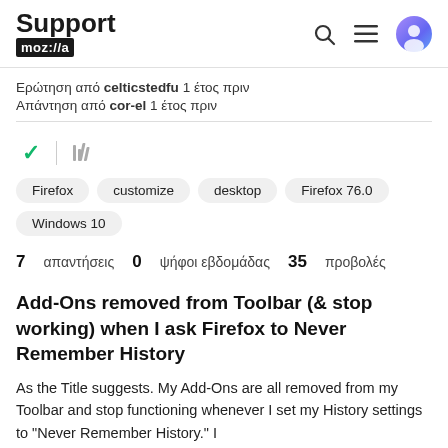Support mozilla://a
Ερώτηση από celticstedfu 1 έτος πριν
Απάντηση από cor-el 1 έτος πριν
Firefox   customize   desktop   Firefox 76.0   Windows 10
7 απαντήσεις   0 ψήφοι εβδομάδας   35 προβολές
Add-Ons removed from Toolbar (& stop working) when I ask Firefox to Never Remember History
As the Title suggests. My Add-Ons are all removed from my Toolbar and stop functioning whenever I set my History settings to "Never Remember History." I